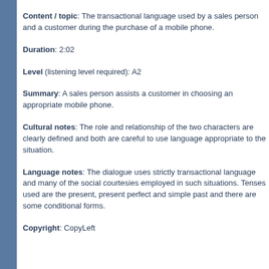Content / topic: The transactional language used by a sales person and a customer during the purchase of a mobile phone.
Duration: 2:02
Level (listening level required): A2
Summary: A sales person assists a customer in choosing an appropriate mobile phone.
Cultural notes: The role and relationship of the two characters are clearly defined and both are careful to use language appropriate to the situation.
Language notes: The dialogue uses strictly transactional language and many of the social courtesies employed in such situations. Tenses used are the present, present perfect and simple past and there are some conditional forms.
Copyright: CopyLeft